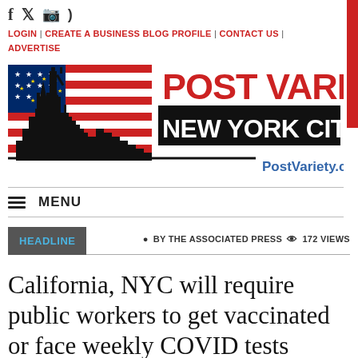f  ✦  ⬛  ))) | LOGIN | CREATE A BUSINESS BLOG PROFILE | CONTACT US | ADVERTISE
[Figure (logo): Post Variety - New York City's logo with Statue of Liberty, American flag, and city skyline. PostVariety.com]
≡ MENU
HEADLINE  ● BY THE ASSOCIATED PRESS  ◉ 172 VIEWS
California, NYC will require public workers to get vaccinated or face weekly COVID tests